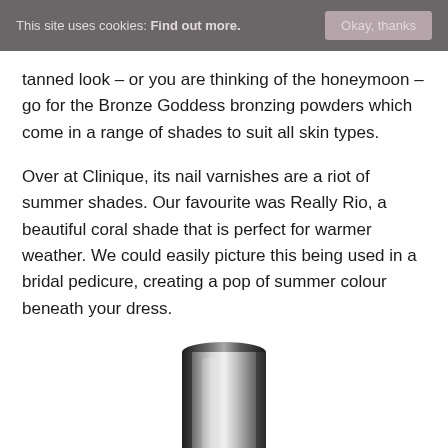This site uses cookies: Find out more.   Okay, thanks
tanned look – or you are thinking of the honeymoon – go for the Bronze Goddess bronzing powders which come in a range of shades to suit all skin types.
Over at Clinique, its nail varnishes are a riot of summer shades. Our favourite was Really Rio, a beautiful coral shade that is perfect for warmer weather. We could easily picture this being used in a bridal pedicure, creating a pop of summer colour beneath your dress.
[Figure (photo): Bottom portion of a silver/chrome nail varnish bottle on white background]